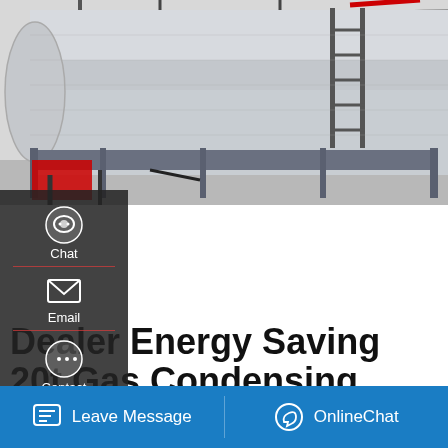[Figure (photo): Large industrial gas condensing boiler, silver/metallic cylindrical tank with pipes, ladders, and fittings in a factory setting]
Dealer Energy Saving 20t Gas Condensing Boiler Ukraine
boiler 8t energy saving dealer cyprus -Gas fired boiler in 8t Gas boiler Dealer. Commercial Dealer 8t gas boiler Cyprus. Commercial Dealer 8t gas boiler Cyprus [6] oil-fired commercial dealer 8t boiler cyprus must configure a more complex fuel system (especially the combustion of heavy oil while residue) ...s heat pipes etc. must occupy a certain
Leave Message   OnlineChat